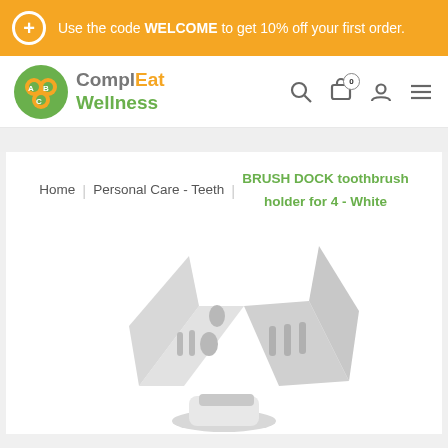Use the code WELCOME to get 10% off your first order.
[Figure (logo): ComplEat Wellness logo with circular icon and green/orange text]
Home | Personal Care - Teeth | BRUSH DOCK toothbrush holder for 4 - White
[Figure (photo): White BRUSH DOCK toothbrush holder product photo on white background]